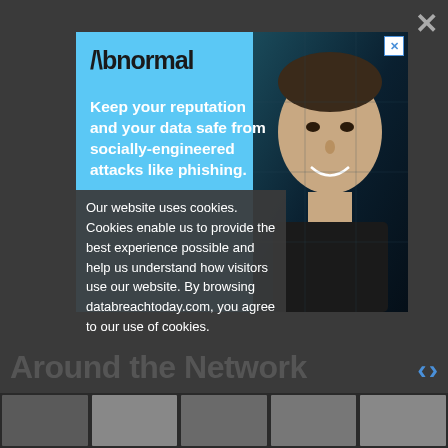[Figure (screenshot): Dark website background with 'Around the Network' heading and navigation arrows]
[Figure (photo): Abnormal Security advertisement banner with light blue background, logo, tagline 'Keep your reputation and your data safe from socially-engineered attacks like phishing.' and a photo of a smiling man]
Our website uses cookies. Cookies enable us to provide the best experience possible and help us understand how visitors use our website. By browsing databreachtoday.com, you agree to our use of cookies.
Around the Network